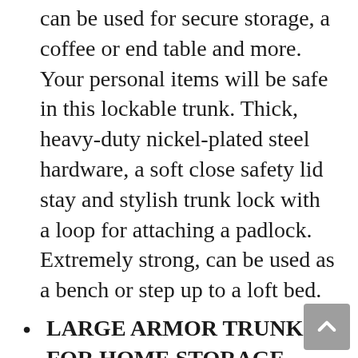can be used for secure storage, a coffee or end table and more. Your personal items will be safe in this lockable trunk. Thick, heavy-duty nickel-plated steel hardware, a soft close safety lid stay and stylish trunk lock with a loop for attaching a padlock. Extremely strong, can be used as a bench or step up to a loft bed.
LARGE ARMOR TRUNK FOR HOME STORAGE – This large Armor Trunk for home storage can be used for home furnishings, toys and games, a